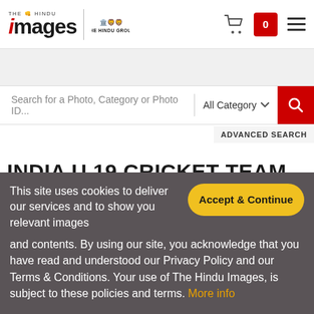The Hindu Images — The Hindu Group | Cart 0 | Menu
Search for a Photo, Category or Photo ID...
All Category
ADVANCED SEARCH
INDIA U 19 CRICKET TEAM
This site uses cookies to deliver our services and to show you relevant images and contents. By using our site, you acknowledge that you have read and understood our Privacy Policy and our Terms & Conditions. Your use of The Hindu Images, is subject to these policies and terms. More info
Accept & Continue